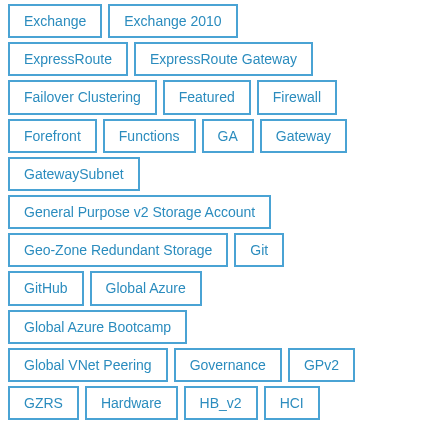Exchange
Exchange 2010
ExpressRoute
ExpressRoute Gateway
Failover Clustering
Featured
Firewall
Forefront
Functions
GA
Gateway
GatewaySubnet
General Purpose v2 Storage Account
Geo-Zone Redundant Storage
Git
GitHub
Global Azure
Global Azure Bootcamp
Global VNet Peering
Governance
GPv2
GZRS
Hardware
HB_v2
HCI